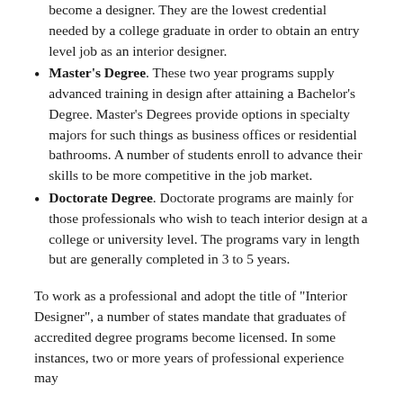become a designer. They are the lowest credential needed by a college graduate in order to obtain an entry level job as an interior designer.
Master's Degree. These two year programs supply advanced training in design after attaining a Bachelor's Degree. Master's Degrees provide options in specialty majors for such things as business offices or residential bathrooms. A number of students enroll to advance their skills to be more competitive in the job market.
Doctorate Degree. Doctorate programs are mainly for those professionals who wish to teach interior design at a college or university level. The programs vary in length but are generally completed in 3 to 5 years.
To work as a professional and adopt the title of "Interior Designer", a number of states mandate that graduates of accredited degree programs become licensed. In some instances, two or more years of professional experience may